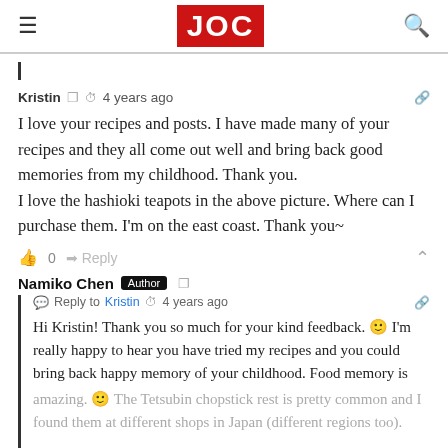JOC
Kristin  4 years ago
I love your recipes and posts. I have made many of your recipes and they all come out well and bring back good memories from my childhood. Thank you.
I love the hashioki teapots in the above picture. Where can I purchase them. I'm on the east coast. Thank you~
0   Reply
Namiko Chen  Author
Reply to Kristin  4 years ago
Hi Kristin! Thank you so much for your kind feedback. 🙂 I'm really happy to hear you have tried my recipes and you could bring back happy memory of your childhood. Food memory is amazing. 🙂 The Tetsubin chopstick rest is pretty common and I found them at different shops in Japan (different regions too).